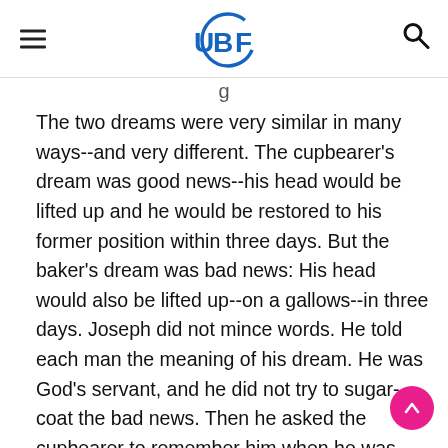UBF
The two dreams were very similar in many ways--and very different. The cupbearer's dream was good news--his head would be lifted up and he would be restored to his former position within three days. But the baker's dream was bad news: His head would also be lifted up--on a gallows--in three days. Joseph did not mince words. He told each man the meaning of his dream. He was God's servant, and he did not try to sugar-coat the bad news. Then he asked the cupbearer to remember him when he was restored to his former position serving Pharaoh. Things happened just as Joseph had said, but sheep are sheep and the cupbearer completely forgot